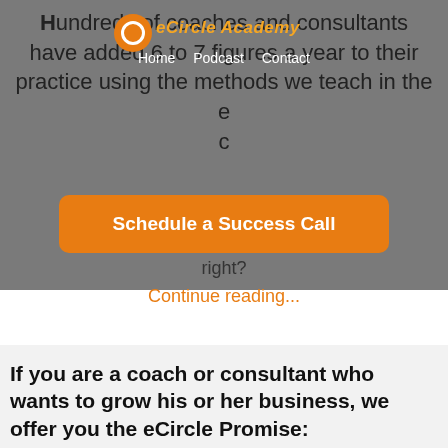eCircle Academy — Home   Podcast   Contact
Hundreds of coaches and consultants have added 6 to 7 figures a year to their practice using the methods we teach in the e... c...
[Figure (other): Orange rounded-rectangle CTA button reading 'Schedule a Success Call']
right?
Continue reading...
If you are a coach or consultant who wants to grow his or her business, we offer you the eCircle Promise: